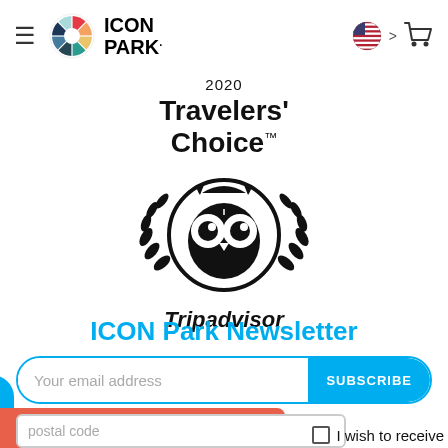≡ ICON PARK
[Figure (logo): 2020 Travelers' Choice Tripadvisor badge with owl logo and laurel wreath in black]
ICON Park Newsletter
Your email address  SUBSCRIBE
BUY ONLINE & SAVE $
postal code
I wish to receive